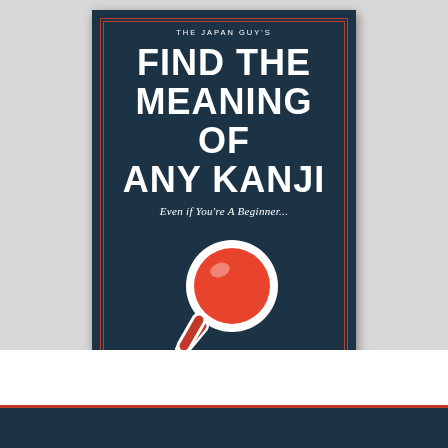[Figure (illustration): Book cover for 'The Japan Guy's Find the Meaning of Any Kanji, Even if You're A Beginner...' by Donald Ash. Dark navy background with red inner border. Central illustration shows a magnifying glass with a red/orange lens and white outline. Author name at bottom in white caps.]
[Figure (illustration): Partial second book cover visible at bottom of page, dark navy with red border stripe.]